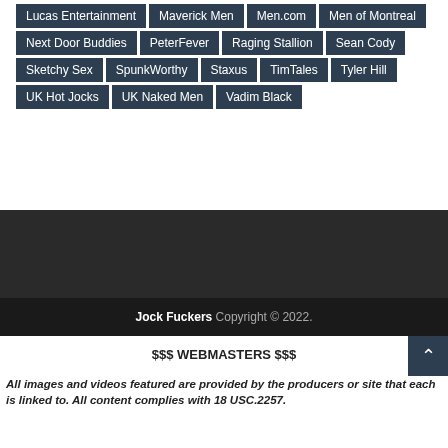Lucas Entertainment
Maverick Men
Men.com
Men of Montreal
Next Door Buddies
PeterFever
Raging Stallion
Sean Cody
Sketchy Sex
SpunkWorthy
Staxus
TimTales
Tyler Hill
UK Hot Jocks
UK Naked Men
Vadim Black
Jock Fuckers Copyright © 2022.
$$$ WEBMASTERS $$$
All images and videos featured are provided by the producers or site that each is linked to. All content complies with 18 USC.2257.